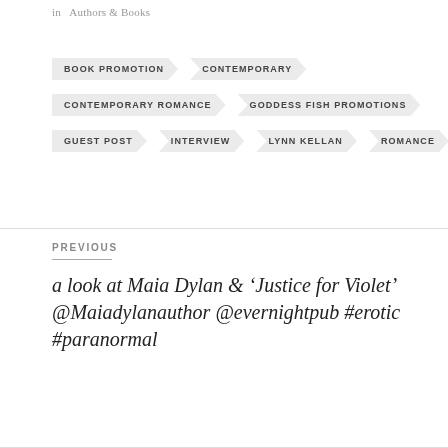in  Authors & Books
BOOK PROMOTION
CONTEMPORARY
CONTEMPORARY ROMANCE
GODDESS FISH PROMOTIONS
GUEST POST
INTERVIEW
LYNN KELLAN
ROMANCE
PREVIOUS
a look at Maia Dylan & 'Justice for Violet' @Maiadylanauthor @evernightpub #erotic #paranormal